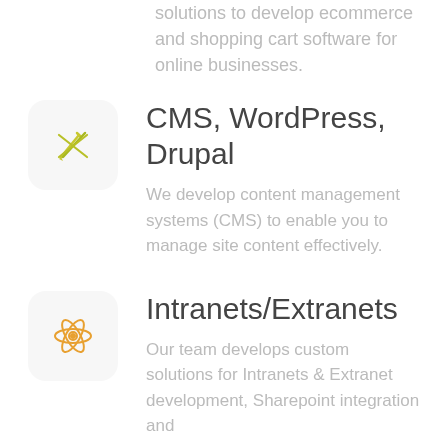solutions to develop ecommerce and shopping cart software for online businesses.
[Figure (illustration): Icon box with a crossed pencil/wrench tool icon in yellow-green color on a light gray rounded rectangle background]
CMS, WordPress, Drupal
We develop content management systems (CMS) to enable you to manage site content effectively.
[Figure (illustration): Icon box with an atom/React-style icon in orange/yellow color on a light gray rounded rectangle background]
Intranets/Extranets
Our team develops custom solutions for Intranets & Extranet development, Sharepoint integration and